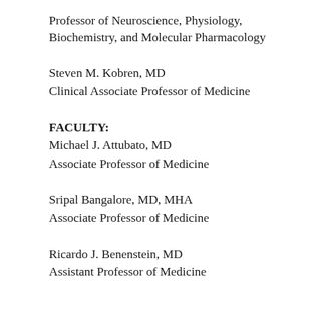Professor of Neuroscience, Physiology, Biochemistry, and Molecular Pharmacology
Steven M. Kobren, MD
Clinical Associate Professor of Medicine
FACULTY:
Michael J. Attubato, MD
Associate Professor of Medicine
Sripal Bangalore, MD, MHA
Associate Professor of Medicine
Ricardo J. Benenstein, MD
Assistant Professor of Medicine